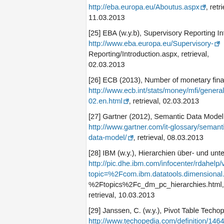http://eba.europa.eu/Aboutus.aspx, retrieval, 11.03.2013
[25] EBA (w.y.b), Supervisory Reporting Introduction, http://www.eba.europa.eu/Supervisory-Reporting/Introduction.aspx, retrieval, 02.03.2013
[26] ECB (2013), Number of monetary financial institutions (MFIs), February 2013, http://www.ecb.int/stats/money/mfi/general/html/m02.en.html, retrieval, 02.03.2013
[27] Gartner (2012), Semantic Data Model, http://www.gartner.com/it-glossary/semantic-data-model/, retrieval, 08.03.2013
[28] IBM (w.y.), Hierarchien über- und untergeordneter Elemente, http://pic.dhe.ibm.com/infocenter/rdahelp/v7r5/index.jsp?topic=%2Fcom.ibm.datatools.dimensional.ui.doc%2Ftopics%2Fc_dm_pc_hierarchies.html, retrieval, 10.03.2013
[29] Janssen, C. (w.y.), Pivot Table Techopedia explains Pivot Table, http://www.techopedia.com/definition/14649/pi...